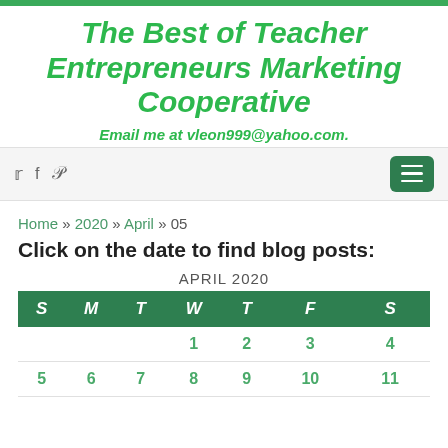The Best of Teacher Entrepreneurs Marketing Cooperative
Email me at vleon999@yahoo.com.
Navigation bar with social icons (Twitter, Facebook, Pinterest) and menu button
Home » 2020 » April » 05
Click on the date to find blog posts:
| S | M | T | W | T | F | S |
| --- | --- | --- | --- | --- | --- | --- |
|  |  |  | 1 | 2 | 3 | 4 |
| 5 | 6 | 7 | 8 | 9 | 10 | 11 |